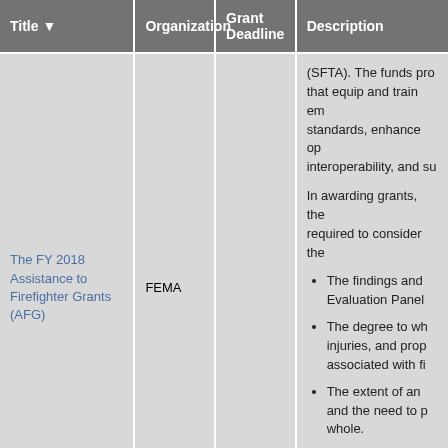| Title | Organization | Grant Deadline | Description |
| --- | --- | --- | --- |
| The FY 2018 Assistance to Firefighter Grants (AFG) | FEMA |  | (SFTA). The funds pro... that equip and train em... standards, enhance op... interoperability, and su...

In awarding grants, the... required to consider the...
• The findings and ... Evaluation Panel...
• The degree to wh... injuries, and prop... associated with fi...
• The extent of an... and the need to p... whole.
• The number of ca... firefighting or em... received by an ap... |
|  |  |  | Past Deadline: 5/7/20... Collaborative Problem-... Agreement Program p... |